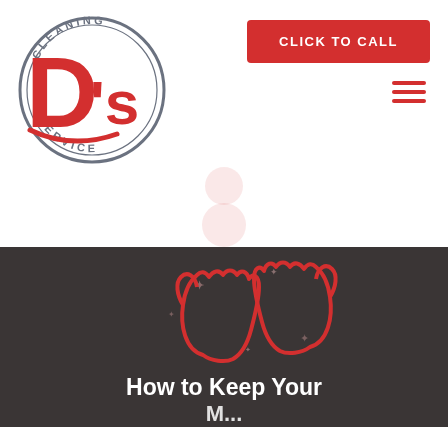[Figure (logo): D's Cleaning Service circular logo with red D's lettering and gray circular border text reading CLEANING SERVICE]
[Figure (other): Red button with white bold uppercase text CLICK TO CALL]
[Figure (other): Red hamburger menu icon with three horizontal bars]
[Figure (illustration): Two red outline rubber cleaning gloves raised with sparkle/star decorations on dark gray background]
How to Keep Your